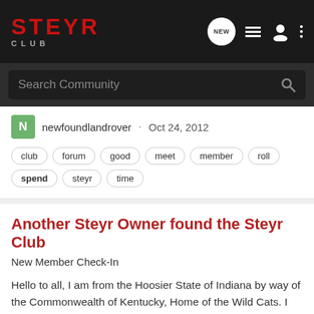STEYR CLUB
Search Community
newfoundlandrover · Oct 24, 2012
club
forum
good
meet
member
roll
spend
steyr
time
Another Steyr Owner found the Steyr Club
New Member Check-In
Hello to all, I am from the Hoosier State of Indiana by way of the Commonwealth of Kentucky, Home of the Wild Cats. I presently own an older Steyr Mannlicher .30-06 MIII Professional and a spanking new, my pride and joy Jeff Cooper .308 Mannlicher Scout. I am retired and get to spend time...
1   1K